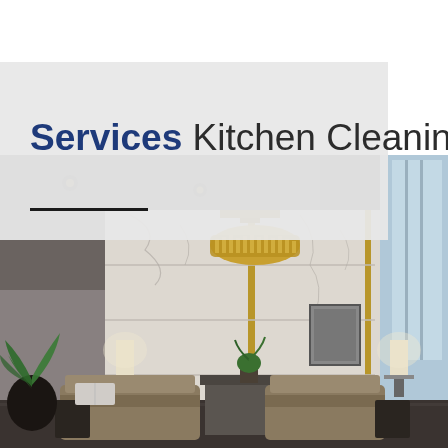[Figure (photo): Luxury interior lobby or living space with marble wall panels, a gold cylindrical chandelier, brown leather sofas, table lamps, green plants, and large windows. Warm upscale atmosphere.]
Services Kitchen Cleaning